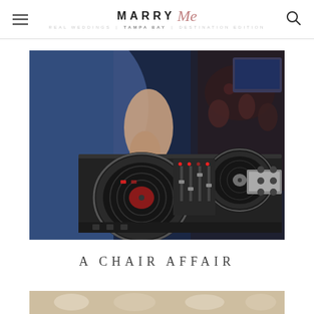MARRY Me Tampa Bay
[Figure (photo): DJ operating turntables and mixer equipment at a wedding reception, wearing a blue suit jacket]
A CHAIR AFFAIR
[Figure (photo): Partial view of a floral or chair wedding decor arrangement at the bottom of the page]